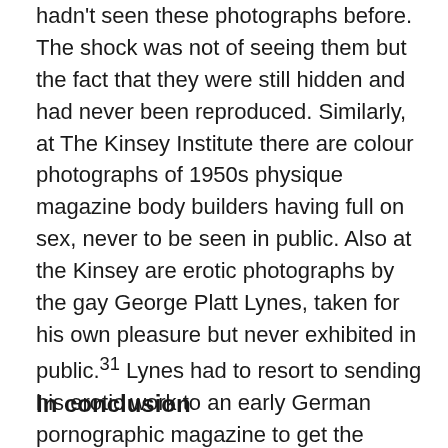hadn't seen these photographs before. The shock was not of seeing them but the fact that they were still hidden and had never been reproduced. Similarly, at The Kinsey Institute there are colour photographs of 1950s physique magazine body builders having full on sex, never to be seen in public. Also at the Kinsey are erotic photographs by the gay George Platt Lynes, taken for his own pleasure but never exhibited in public.31 Lynes had to resort to sending his erotic work to an early German pornographic magazine to get the photographs published. Taking these photographs is not a breach of privacy but an expression of normalcy, freedom and creativity.
In conclusion